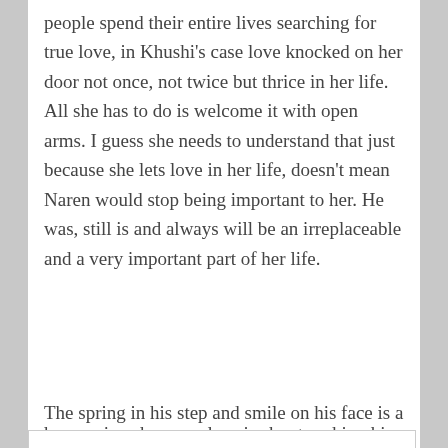people spend their entire lives searching for true love, in Khushi's case love knocked on her door not once, not twice but thrice in her life. All she has to do is welcome it with open arms. I guess she needs to understand that just because she lets love in her life, doesn't mean Naren would stop being important to her. He was, still is and always will be an irreplaceable and a very important part of her life.
The spring in his step and smile on his face is a
Privacy & Cookies: This site uses cookies. By continuing to use this website, you agree to their use.
To find out more, including how to control cookies, see here: Cookie Policy
how serious her grandson is about seeking his